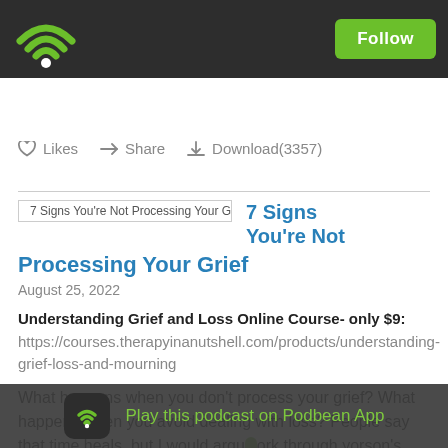[Figure (logo): Podbean podcast app header with green WiFi/signal icon on dark background and green Follow button]
Likes  Share  Download(3357)
[Figure (screenshot): Thumbnail image placeholder for '7 Signs You're Not Processing Your Grief' episode]
7 Signs You're Not Processing Your Grief
August 25, 2022
Understanding Grief and Loss Online Course- only $9:
https://courses.therapyinanutshell.com/products/understanding-grief-loss-and-mourning
What happens when you don't process your grief? What happens when you avoid dealing with loss? People say that time heals, but I would argue that you have to actively work through your grief... each person's grief is unique, there isn't a concrete set of steps you can do...
Play this podcast on Podbean App